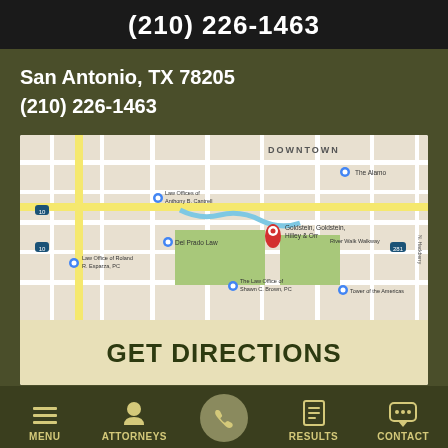(210) 226-1463
San Antonio, TX 78205
(210) 226-1463
[Figure (map): Google Maps screenshot showing downtown San Antonio, TX with a red pin marker on Goldstein, Goldstein, Hilley & Orr law firm. Nearby landmarks include The Alamo, Law Offices of Anthony B. Cantrell, Del Prado Law, Law Office of Roland R. Esparza PC, The Law Office of Shawn C. Brown PC, River Walk Walkway, and Tower of the Americas.]
GET DIRECTIONS
MENU   ATTORNEYS   RESULTS   CONTACT